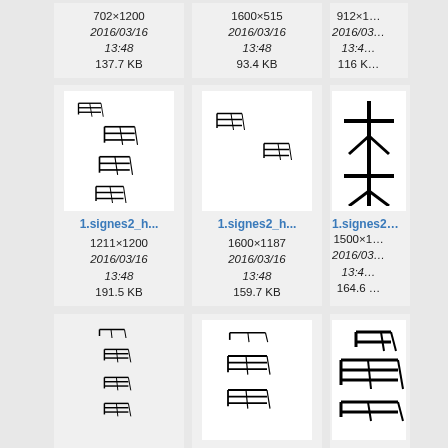[Figure (screenshot): File browser grid view showing cuneiform sign image thumbnails with filenames 1.signes2_h..., dimensions, dates (2016/03/16 13:48), and file sizes. Top partial row shows 702x1200 137.7KB, 1600x515 93.4KB, 912x... 116K... Second row: 1211x1200 191.5KB, 1600x1187 159.7KB, 1500x... 164.6... Third row: 666x1200, 996x1200, 1279x...]